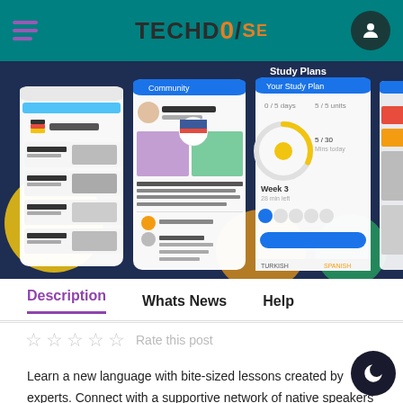TECHDOSE
[Figure (screenshot): App screenshots strip showing Busuu language learning app screens including German lessons, Community, Study Plans, and Vocabulary sections on a dark blue background]
Description   Whats News   Help
Rate this post
Learn a new language with bite-sized lessons created by experts. Connect with a supportive network of native speakers and qualified teachers. Master a language faster. It's all possible with Busuu, a Chegg Service.